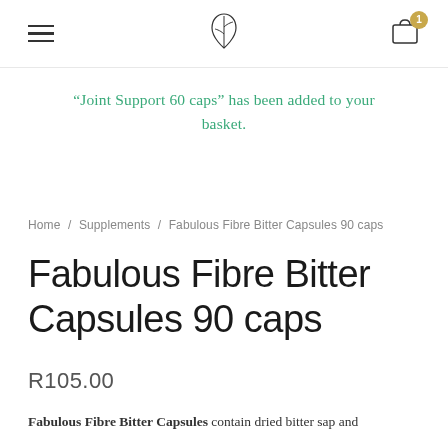Navigation bar with hamburger menu, plant logo, and cart icon with badge 1
“Joint Support 60 caps” has been added to your basket.
Home / Supplements / Fabulous Fibre Bitter Capsules 90 caps
Fabulous Fibre Bitter Capsules 90 caps
R105.00
Fabulous Fibre Bitter Capsules contain dried bitter sap and...